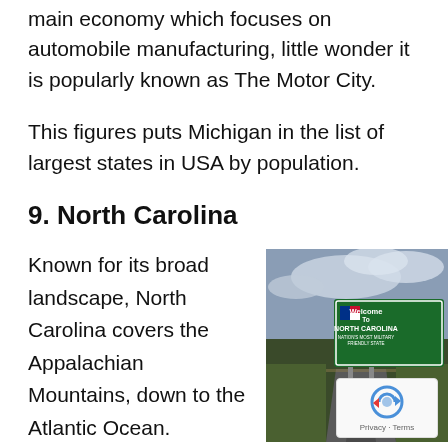main economy which focuses on automobile manufacturing, little wonder it is popularly known as The Motor City.
This figures puts Michigan in the list of largest states in USA by population.
9. North Carolina
Known for its broad landscape, North Carolina covers the Appalachian Mountains, down to the Atlantic Ocean.
[Figure (photo): A road leading toward a green Welcome to North Carolina sign reading 'Nation's Most Military Friendly State', with trees and cloudy sky in background.]
It has a thriving economy as well. It is located in the Southeastern part of the state with large urban areas t...